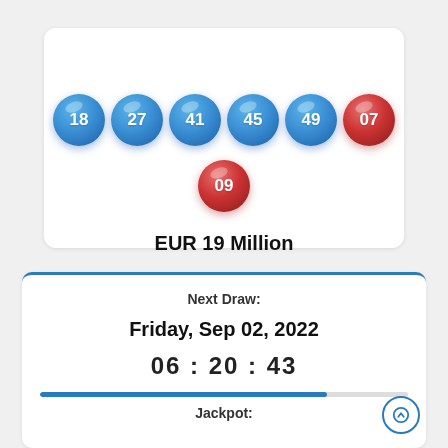Eurojackpot
Tuesday, Aug 30, 2022
[Figure (illustration): Six lottery balls in a horizontal row (5 blue: 18, 27, 41, 45, 49 and 1 red: 07), and one red ball below center (09)]
EUR 19 Million
Next Draw:
Friday, Sep 02, 2022
06 : 20 : 43
Jackpot: